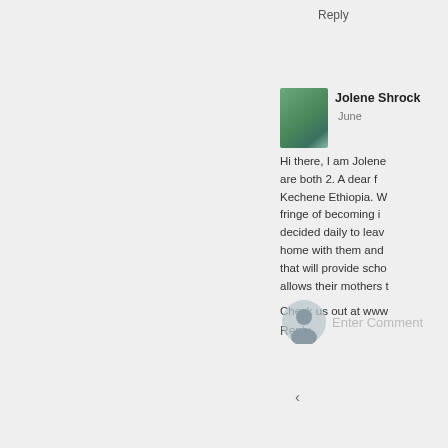Reply
Jolene Shrock June...
[Figure (photo): Profile photo of a group of people outdoors, thumbnail size]
Hi there, I am Jolene... are both 2. A dear f... Kechene Ethiopia. W... fringe of becoming i... decided daily to leav... home with them and... that will provide scho... allows their mothers t...
Check us out at www...
Reply
[Figure (other): Default user avatar/silhouette icon for entering a comment]
Enter Comment...
‹